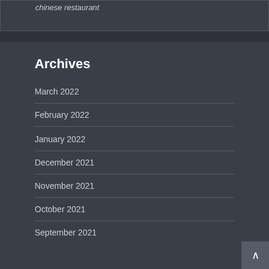chinese restaurant
Archives
March 2022
February 2022
January 2022
December 2021
November 2021
October 2021
September 2021